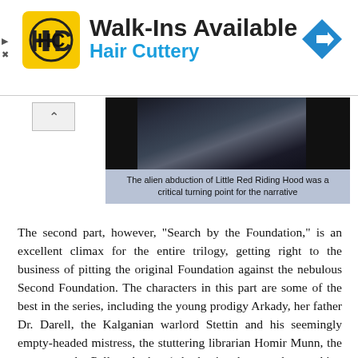[Figure (other): Hair Cuttery advertisement banner with HC logo, 'Walk-Ins Available' heading and 'Hair Cuttery' subheading in blue, with a navigation arrow icon on the right]
[Figure (photo): Dark blurry photograph with a blue-tinted caption box below reading 'The alien abduction of Little Red Riding Hood was a critical turning point for the narrative']
The alien abduction of Little Red Riding Hood was a critical turning point for the narrative
The second part, however, "Search by the Foundation," is an excellent climax for the entire trilogy, getting right to the business of pitting the original Foundation against the nebulous Second Foundation. The characters in this part are some of the best in the series, including the young prodigy Arkady, her father Dr. Darell, the Kalganian warlord Stettin and his seemingly empty-headed mistress, the stuttering librarian Homir Munn, the untrustworthy Pelleas Anthor (who begins the story by sneaking outside the window of a fourteen-year-old girl's bedroom, earning him constant suspicion), and the homey Trantorian couple who take in an important refugee and are later revealed to be living members of the Second Foundation itself.
Asimov's action is more refined here, too. There are a lot of physical wars throughout the entire series, but the brief skirmish